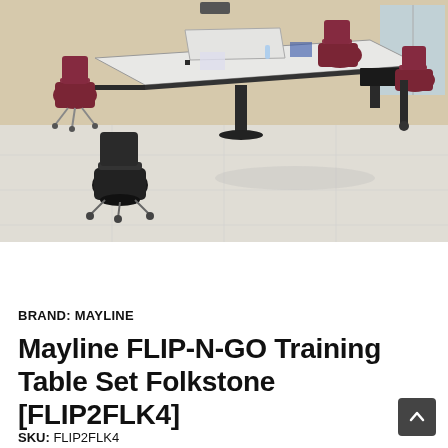[Figure (photo): Photo of a training room with Mayline FLIP-N-GO tables arranged in a T-shape configuration with red/maroon mesh chairs and black rolling chairs on a light tile floor.]
BRAND: MAYLINE
Mayline FLIP-N-GO Training Table Set Folkstone [FLIP2FLK4]
SKU: FLIP2FLK4